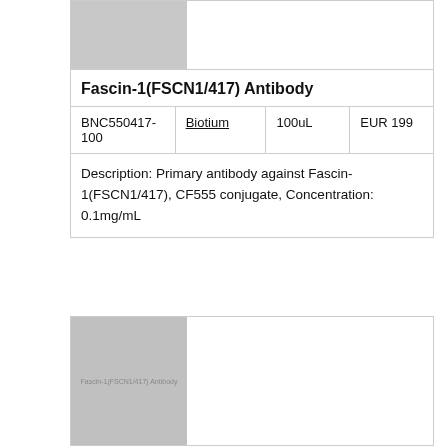[Figure (photo): Gray placeholder image at top left of first product card]
Fascin-1(FSCN1/417) Antibody
|  |  |  |  |
| --- | --- | --- | --- |
| BNC550417-100 | Biotium | 100uL | EUR 199 |
Description: Primary antibody against Fascin-1(FSCN1/417), CF555 conjugate, Concentration: 0.1mg/mL
[Figure (photo): Gray placeholder image with text 'Fascin-1(FSCN1/417) Antibody' for second product card]